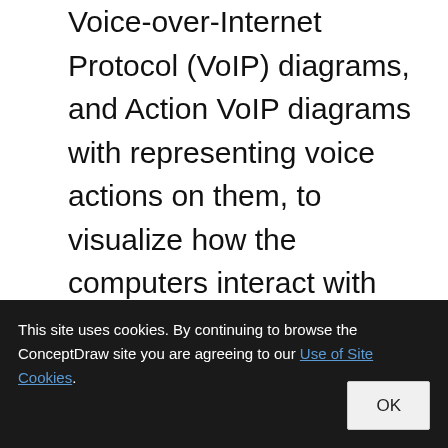Voice-over-Internet Protocol (VoIP) diagrams, and Action VoIP diagrams with representing voice actions on them, to visualize how the computers interact with callers through voice recognition and dual-tone multi-frequency signaling (DTMF) keypad inputs.
Fault Tree Analysis Diagrams
[Figure (photo): Partial view of a Fault Tree Analysis diagram image, mostly obscured, showing dark brown and gray tones at the top of the image section.]
This site uses cookies. By continuing to browse the ConceptDraw site you are agreeing to our Use of Site Cookies.